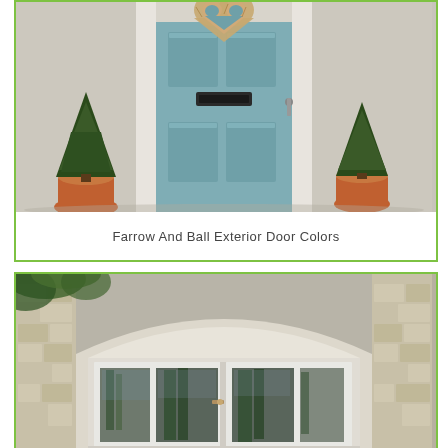[Figure (photo): A blue-green painted front door with a wicker heart wreath, flanked by two conical topiary trees in terracotta pots, on a white rendered exterior facade.]
Farrow And Ball Exterior Door Colors
[Figure (photo): A set of white French doors with large glass panels set within a curved stone archway on a stone-clad exterior building facade.]